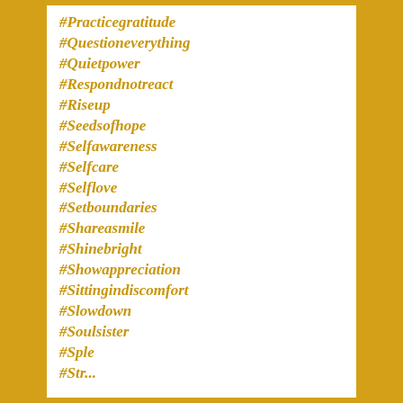#Practicegratitude
#Questioneverything
#Quietpower
#Respondnotreact
#Riseup
#Seedsofhope
#Selfawareness
#Selfcare
#Selflove
#Setboundaries
#Shareasmile
#Shinebright
#Showappreciation
#Sittingindiscomfort
#Slowdown
#Soulsister
#Sple
#Str...